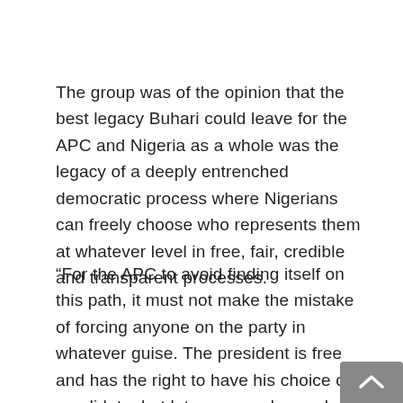The group was of the opinion that the best legacy Buhari could leave for the APC and Nigeria as a whole was the legacy of a deeply entrenched democratic process where Nigerians can freely choose who represents them at whatever level in free, fair, credible and transparent processes.
“For the APC to avoid finding itself on this path, it must not make the mistake of forcing anyone on the party in whatever guise. The president is free and has the right to have his choice of candidate, but let everyone be made to test their popularity in the field so that representatives of the party in the form of delegates will choose who they deem to be the best, more